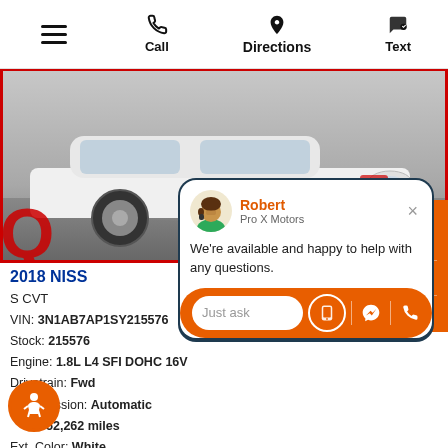Call | Directions | Text
[Figure (photo): White Nissan sedan, front/side view, photographed in a parking lot]
Robert
Pro X Motors
We're available and happy to help with any questions.
Just ask
2018 NISS
S CVT
VIN: 3N1AB7AP1SY215576
Stock: 215576
Engine: 1.8L L4 SFI DOHC 16V
Drivetrain: Fwd
Transmission: Automatic
: 52,262 miles
Ext. Color: White